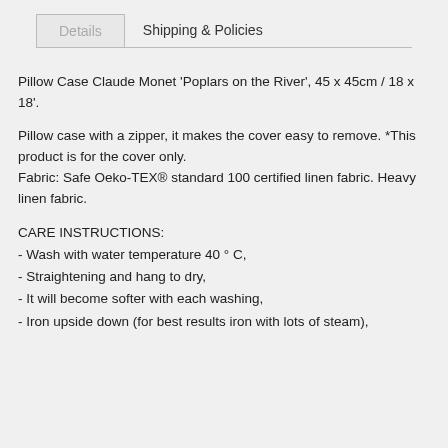Details | Shipping & Policies
Pillow Case Claude Monet 'Poplars on the River', 45 x 45cm / 18 x 18'.
Pillow case with a zipper, it makes the cover easy to remove. *This product is for the cover only. Fabric: Safe Oeko-TEX® standard 100 certified linen fabric. Heavy linen fabric.
CARE INSTRUCTIONS:
- Wash with water temperature 40 ° C,
- Straightening and hang to dry,
- It will become softer with each washing,
- Iron upside down (for best results iron with lots of steam)